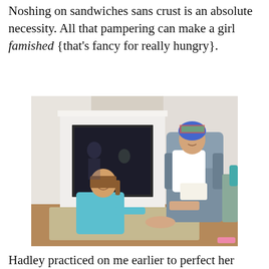Noshing on sandwiches sans crust is an absolute necessity. All that pampering can make a girl famished {that's fancy for really hungry}.
[Figure (photo): A young girl in a teal floral robe kneeling on the floor giving a foot massage to a woman wearing a colorful head covering and white long-sleeve shirt, sitting in a grey armchair eating food from a container. A fireplace is visible in the background.]
Hadley practiced on me earlier to perfect her hand